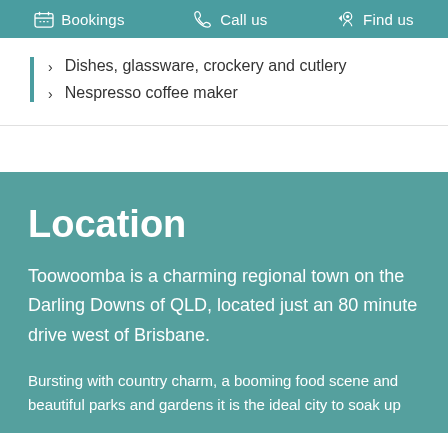Bookings  Call us  Find us
Dishes, glassware, crockery and cutlery
Nespresso coffee maker
Location
Toowoomba is a charming regional town on the Darling Downs of QLD, located just an 80 minute drive west of Brisbane.
Bursting with country charm, a booming food scene and beautiful parks and gardens it is the ideal city to soak up